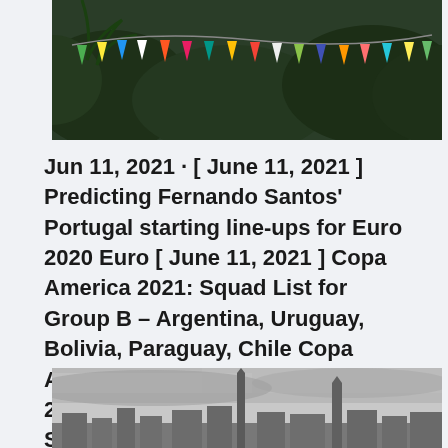[Figure (photo): Colorful flags or bunting strung across trees in an outdoor setting with lush green foliage in the background.]
Jun 11, 2021 · [ June 11, 2021 ] Predicting Fernando Santos' Portugal starting line-ups for Euro 2020 Euro [ June 11, 2021 ] Copa America 2021: Squad List for Group B – Argentina, Uruguay, Bolivia, Paraguay, Chile Copa America [ June 11, 2021 ] Euro 2020 Preview: Wales vs Switzerland, key stats, line-ups, odds, prediction Euro
[Figure (photo): Black and white cityscape photo showing tall buildings or skyscrapers under a cloudy sky.]